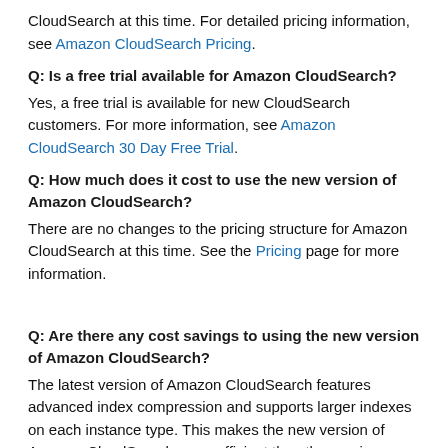CloudSearch at this time. For detailed pricing information, see Amazon CloudSearch Pricing.
Q: Is a free trial available for Amazon CloudSearch?
Yes, a free trial is available for new CloudSearch customers. For more information, see Amazon CloudSearch 30 Day Free Trial.
Q: How much does it cost to use the new version of Amazon CloudSearch?
There are no changes to the pricing structure for Amazon CloudSearch at this time. See the Pricing page for more information.
Q: Are there any cost savings to using the new version of Amazon CloudSearch?
The latest version of Amazon CloudSearch features advanced index compression and supports larger indexes on each instance type. This makes the new version of Amazon CloudSearch more efficient than the previous version, and may result in significant cost savings.